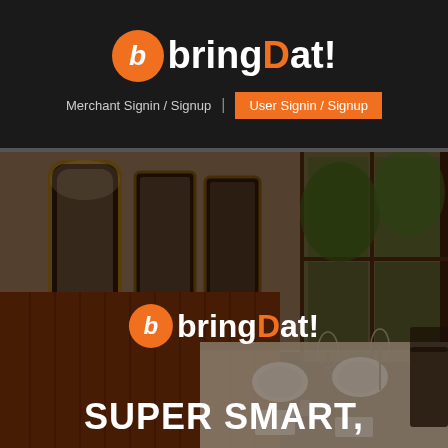[Figure (logo): bringDat! logo with orange circle containing italic b, white text 'bring', orange 'D', white 'at!']
Merchant Signin / Signup | User Signin / Signup
[Figure (photo): Interior of an upscale restaurant with leather booth seating, ornate mirrors, large windows, and a formally set dining table with glasses and place settings]
[Figure (logo): bringDat! logo overlaid on restaurant photo]
SUPER SMART,